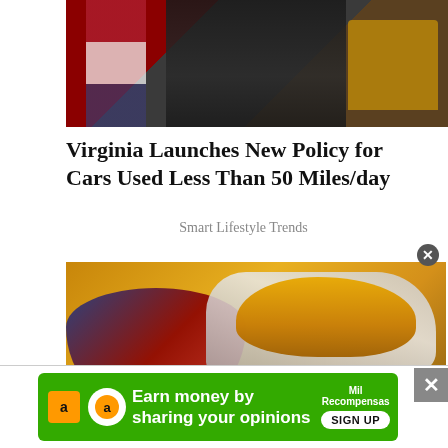[Figure (photo): Press conference or official announcement photo showing a person in dark uniform near a podium with American flag in background]
Virginia Launches New Policy for Cars Used Less Than 50 Miles/day
Smart Lifestyle Trends
[Figure (photo): Close-up photo of a spoon scooping yellow turmeric powder from a colorful decorative bowl]
[Figure (screenshot): Advertisement banner: 'Earn money by sharing your opinions' with Amazon logo and MiloRecompensas sign-up button on green background]